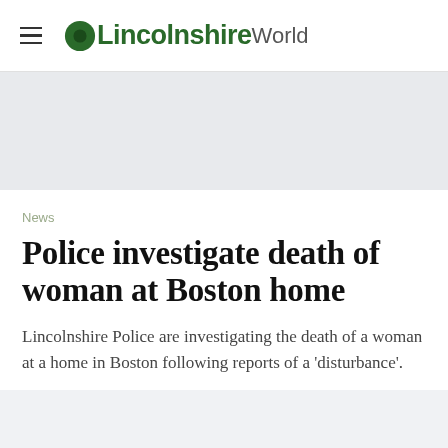≡  OLincolnshireWorld
News
Police investigate death of woman at Boston home
Lincolnshire Police are investigating the death of a woman at a home in Boston following reports of a 'disturbance'.